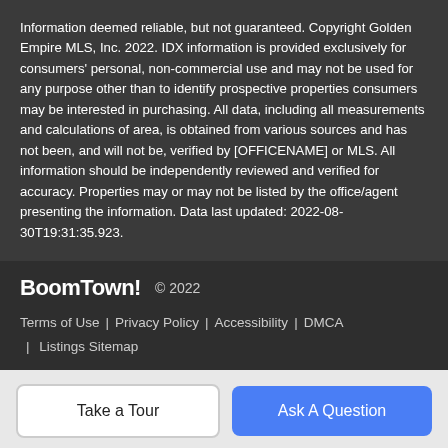Information deemed reliable, but not guaranteed. Copyright Golden Empire MLS, Inc. 2022. IDX information is provided exclusively for consumers' personal, non-commercial use and may not be used for any purpose other than to identify prospective properties consumers may be interested in purchasing. All data, including all measurements and calculations of area, is obtained from various sources and has not been, and will not be, verified by [OFFICENAME] or MLS. All information should be independently reviewed and verified for accuracy. Properties may or may not be listed by the office/agent presenting the information. Data last updated: 2022-08-30T19:31:35.923.
BoomTown! © 2022 | Terms of Use | Privacy Policy | Accessibility | DMCA | Listings Sitemap
Take a Tour
Ask A Question